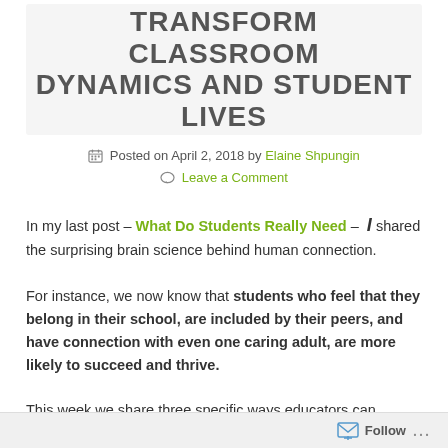TRANSFORM CLASSROOM DYNAMICS AND STUDENT LIVES
Posted on April 2, 2018 by Elaine Shpungin
Leave a Comment
In my last post – What Do Students Really Need – I shared the surprising brain science behind human connection.
For instance, we now know that students who feel that they belong in their school, are included by their peers, and have connection with even one caring adult, are more likely to succeed and thrive.
This week we share three specific ways educators can increase this sense of inclusion, belonging, and connection